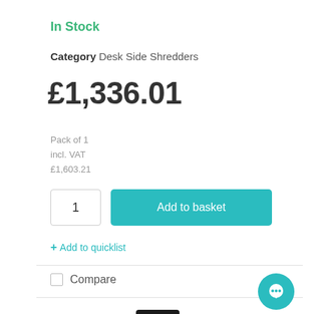In Stock
Category Desk Side Shredders
£1,336.01
Pack of 1
incl. VAT
£1,603.21
1
Add to basket
+ Add to quicklist
Compare
[Figure (photo): A black desk-side document shredder, tall and narrow, photographed from a slight angle]